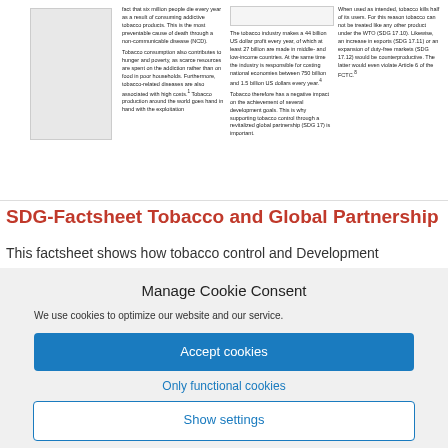[Figure (screenshot): Partial view of an SDG factsheet document about Tobacco and Global Partnership, showing three columns of small text discussing tobacco industry profits, health impacts, and SDG connections, with a white box placeholder on the left.]
SDG-Factsheet Tobacco and Global Partnership
This factsheet shows how tobacco control and Development
Manage Cookie Consent
We use cookies to optimize our website and our service.
Accept cookies
Only functional cookies
Show settings